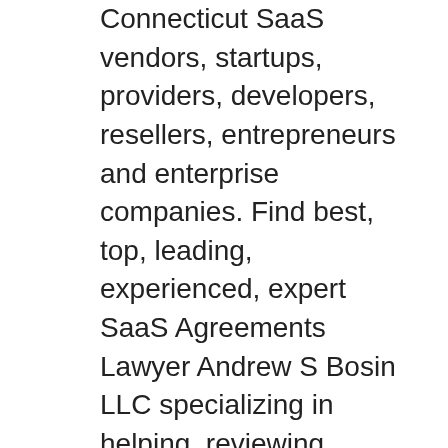Connecticut SaaS vendors, startups, providers, developers, resellers, entrepreneurs and enterprise companies. Find best, top, leading, experienced, expert SaaS Agreements Lawyer Andrew S Bosin LLC specializing in helping, reviewing, drafting and negotiating SaaS Subscription Agreements, SaaS agreements, SaaS MSA agreements, SaaS EULA Agreements and SaaS Reseller Agreements for Minneapolis SaaS vendors, startups, providers, developers, resellers, entrepreneurs and enterprise companies. Find best, top, leading, experienced, expert SaaS Agreements Lawyer Andrew S Bosin LLC specializing in helping, reviewing, drafting and negotiating SaaS Subscription Agreements, SaaS agreements, SaaS MSA agreements, SaaS EULA Agreements and SaaS Reseller Agreements for San Francisco SaaS vendors, startups, providers, developers, resellers, entrepreneurs and enterprise companies. Find best, top, leading, experienced, expert SaaS Agreements Lawyer Andrew S Bosin LLC specializing in helping, reviewing, drafting and